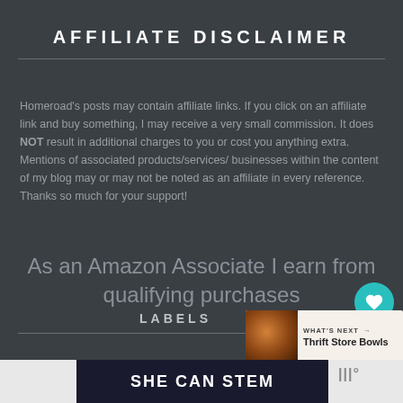AFFILIATE DISCLAIMER
Homeroad's posts may contain affiliate links. If you click on an affiliate link and buy something, I may receive a very small commission. It does NOT result in additional charges to you or cost you anything extra. Mentions of associated products/services/ businesses within the content of my blog may or may not be noted as an affiliate in every reference. Thanks so much for your support!
As an Amazon Associate I earn from qualifying purchases
LABELS
[Figure (infographic): What's Next widget showing a bowl image with text 'WHAT'S NEXT → Thrift Store Bowls']
[Figure (logo): SHE CAN STEM advertisement banner in dark blue with bold white text]
[Figure (logo): Small logo mark on right side of bottom bar]